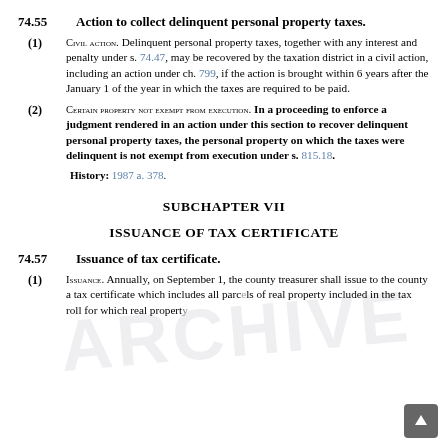74.55   Action to collect delinquent personal property taxes.
(1) CIVIL ACTION. Delinquent personal property taxes, together with any interest and penalty under s. 74.47, may be recovered by the taxation district in a civil action, including an action under ch. 799, if the action is brought within 6 years after the January 1 of the year in which the taxes are required to be paid.
(2) CERTAIN PROPERTY NOT EXEMPT FROM EXECUTION. In a proceeding to enforce a judgment rendered in an action under this section to recover delinquent personal property taxes, the personal property on which the taxes were delinquent is not exempt from execution under s. 815.18.
History: 1987 a. 378.
SUBCHAPTER VII
ISSUANCE OF TAX CERTIFICATE
74.57   Issuance of tax certificate.
(1) ISSUANCE. Annually, on September 1, the county treasurer shall issue to the county a tax certificate which includes all parcels of real property included in the tax roll for which real property